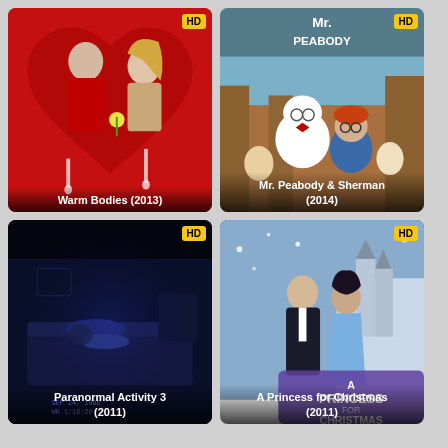[Figure (screenshot): Movie poster for Warm Bodies (2013) - a zombie romance film showing a young male zombie in a red hoodie and a blonde female, red heart background with HD badge]
Warm Bodies (2013)
[Figure (screenshot): Movie poster for Mr. Peabody & Sherman (2014) - animated film with cartoon characters including a white dog with glasses and a red-haired boy, HD badge]
Mr. Peabody & Sherman (2014)
[Figure (screenshot): Movie poster for Paranormal Activity 3 - dark bedroom scene with night vision camera footage, HD badge]
Paranormal Activity 3 (2011)
[Figure (screenshot): Movie poster for A Princess for Christmas - romantic holiday film with a couple in formal attire in a snowy castle setting, HD badge]
A Princess for Christmas (2011)